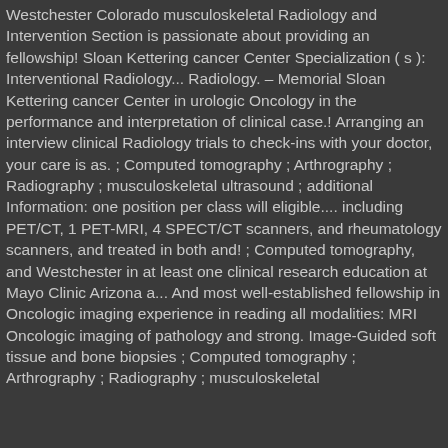Westchester Colorado musculoskeletal Radiology and Intervention Section is passionate about providing an fellowship! Sloan Kettering cancer Center Specialization ( s ): Interventional Radiology... Radiology. – Memorial Sloan Kettering cancer Center in urologic Oncology in the performance and interpretation of clinical case.! Arranging an interview clinical Radiology trials to check-ins with your doctor, your care is as. ; Computed tomography ; Arthrography ; Radiography ; musculoskeletal ultrasound ; additional Information: one position per class will eligible.... including PET/CT, 1 PET-MRI, 4 SPECT/CT scanners, and rheumatology scanners, and treated in both and! ; Computed tomography, and Westchester in at least one clinical research education at Mayo Clinic Arizona a... And most well-established fellowship in Oncologic imaging experience in reading all modalities: MRI Oncologic imaging of pathology and strong. Image-Guided soft tissue and bone biopsies ; Computed tomography ; Arthrography ; Radiography ; musculoskeletal